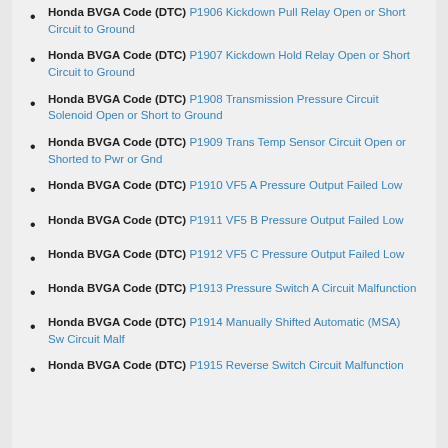Honda BVGA Code (DTC) P1906 Kickdown Pull Relay Open or Short Circuit to Ground
Honda BVGA Code (DTC) P1907 Kickdown Hold Relay Open or Short Circuit to Ground
Honda BVGA Code (DTC) P1908 Transmission Pressure Circuit Solenoid Open or Short to Ground
Honda BVGA Code (DTC) P1909 Trans Temp Sensor Circuit Open or Shorted to Pwr or Gnd
Honda BVGA Code (DTC) P1910 VF5 A Pressure Output Failed Low
Honda BVGA Code (DTC) P1911 VF5 B Pressure Output Failed Low
Honda BVGA Code (DTC) P1912 VF5 C Pressure Output Failed Low
Honda BVGA Code (DTC) P1913 Pressure Switch A Circuit Malfunction
Honda BVGA Code (DTC) P1914 Manually Shifted Automatic (MSA) Sw Circuit Malf
Honda BVGA Code (DTC) P1915 Reverse Switch Circuit Malfunction